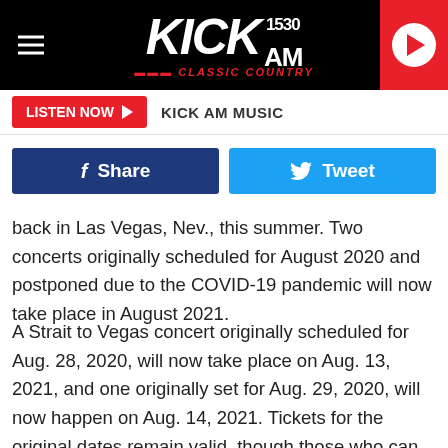[Figure (logo): KICK AM 1530 Classic Country radio station logo with hamburger menu and play button]
LISTEN NOW ▶ KICK AM MUSIC
[Figure (infographic): Facebook Share and Twitter Tweet social sharing buttons]
back in Las Vegas, Nev., this summer. Two concerts originally scheduled for August 2020 and postponed due to the COVID-19 pandemic will now take place in August 2021.
A Strait to Vegas concert originally scheduled for Aug. 28, 2020, will now take place on Aug. 13, 2021, and one originally set for Aug. 29, 2020, will now happen on Aug. 14, 2021. Tickets for the original dates remain valid, though those who can no longer attend can seek refunds from their point of